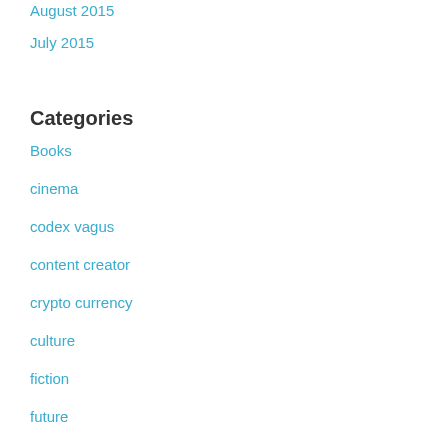August 2015
July 2015
Categories
Books
cinema
codex vagus
content creator
crypto currency
culture
fiction
future
history
humor